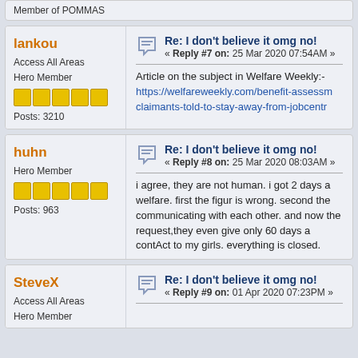Member of POMMAS
lankou
Access All Areas
Hero Member
Posts: 3210
Re: I don't believe it omg no!
« Reply #7 on: 25 Mar 2020 07:54AM »
Article on the subject in Welfare Weekly:-
https://welfareweekly.com/benefit-assessm... claimants-told-to-stay-away-from-jobcentr...
huhn
Hero Member
Posts: 963
Re: I don't believe it omg no!
« Reply #8 on: 25 Mar 2020 08:03AM »
i agree, they are not human. i got 2 days a welfare. first the figur is wrong. second the communicating with each other. and now the request,they even give only 60 days a contAct to my girls. everything is closed.
SteveX
Access All Areas
Hero Member
Re: I don't believe it omg no!
« Reply #9 on: 01 Apr 2020 07:23PM »